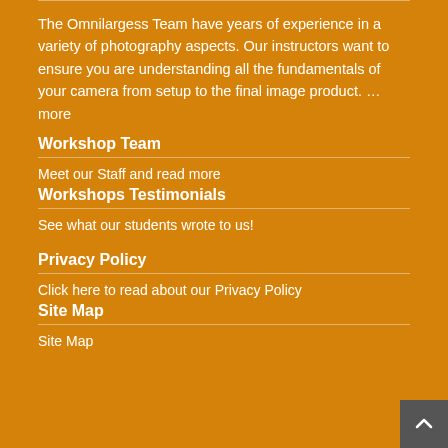The Omnilargess Team have years of experience in a variety of photography aspects. Our instructors want to ensure you are understanding all the fundamentals of your camera from setup to the final image product. … more
Workshop Team
Meet our Staff and read more
Workshops Testimonials
See what our students wrote to us!
Privacy Policy
Click here to read about our Privacy Policy
Site Map
Site Map